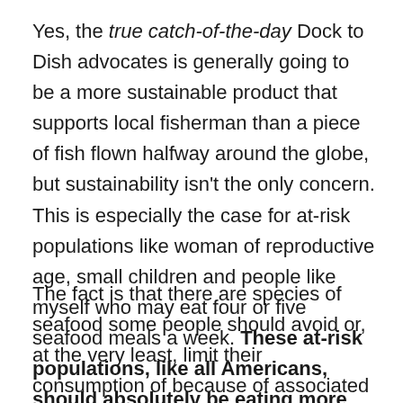Yes, the true catch-of-the-day Dock to Dish advocates is generally going to be a more sustainable product that supports local fisherman than a piece of fish flown halfway around the globe, but sustainability isn't the only concern. This is especially the case for at-risk populations like woman of reproductive age, small children and people like myself who may eat four or five seafood meals a week. These at-risk populations, like all Americans, should absolutely be eating more fish for its health benefits, but they should be eating more of the right kind of fish.
The fact is that there are species of seafood some people should avoid or, at the very least, limit their consumption of because of associated health risks. As long as these species might land on one's plate, it's critical the catch-of-